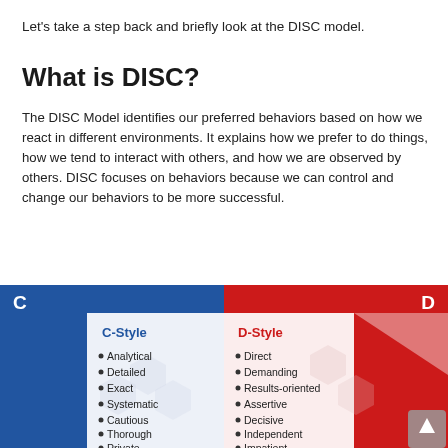Let's take a step back and briefly look at the DISC model.
What is DISC?
The DISC Model identifies our preferred behaviors based on how we react in different environments. It explains how we prefer to do things, how we tend to interact with others, and how we are observed by others. DISC focuses on behaviors because we can control and change our behaviors to be more successful.
[Figure (infographic): DISC model diagram showing C-Style (Analytical, Detailed, Exact, Systematic, Cautious, Thorough, Private) on the left with blue background, and D-Style (Direct, Demanding, Results-oriented, Assertive, Decisive, Independent, Impatient) on the right with red background. The letters C and D appear in white in the upper corners.]